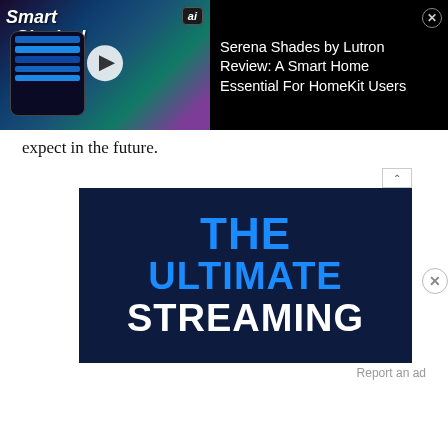[Figure (screenshot): Video ad thumbnail showing Smart Shades app with phone mockup and smart blinds against dark background]
Serena Shades by Lutron Review: A Smart Home Essential For HomeKit Users
expect in the future.
[Figure (screenshot): Advertisement banner with dark navy background showing 'THE ULTIMATE STREAMING' text in bold blue and white letters]
Report an ad
[Figure (screenshot): Disney Bundle advertisement showing Hulu, Disney+, and ESPN+ logos with 'GET THE DISNEY BUNDLE' button and fine print]